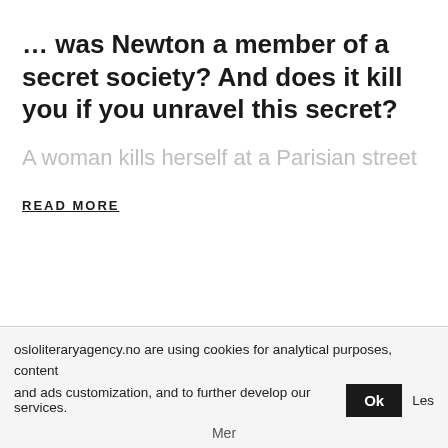… was Newton a member of a secret society? And does it kill you if you unravel this secret?
A woman kills herself at a Parisian street
READ MORE
Rights sold to
osloliteraryagency.no are using cookies for analytical purposes, content and ads customization, and to further develop our services. Ok Les Mer